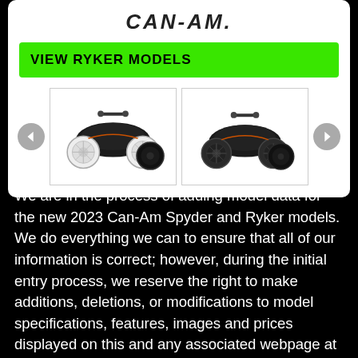CAN-AM
VIEW RYKER MODELS
[Figure (photo): Two black Can-Am Ryker three-wheeled vehicles shown side by side, one with white wheels (left) and one with dark wheels (right), displayed in a carousel with navigation arrows on each side.]
We are in the process of adding model data for the new 2023 Can-Am Spyder and Ryker models. We do everything we can to ensure that all of our information is correct; however, during the initial entry process, we reserve the right to make additions, deletions, or modifications to model specifications, features, images and prices displayed on this and any associated webpage at any time without prior notice. Please contact your local dealer to confirm the information